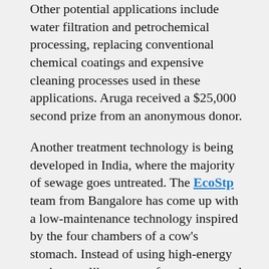Other potential applications include water filtration and petrochemical processing, replacing conventional chemical coatings and expensive cleaning processes used in these applications. Aruga received a $25,000 second prize from an anonymous donor.
Another treatment technology is being developed in India, where the majority of sewage goes untreated. The EcoStp team from Bangalore has come up with a low-maintenance technology inspired by the four chambers of a cow's stomach. Instead of using high-energy equipment like motors, fans, pumps and blowers found at a conventional treatment facility